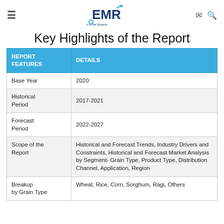≡  EMR Leave it to the Experts  ✉ 🔍
Key Highlights of the Report
| REPORT FEATURES | DETAILS |
| --- | --- |
| Base Year | 2020 |
| Historical Period | 2017-2021 |
| Forecast Period | 2022-2027 |
| Scope of the Report | Historical and Forecast Trends, Industry Drivers and Constraints, Historical and Forecast Market Analysis by Segment- Grain Type, Product Type, Distribution Channel, Application, Region |
| Breakup by Grain Type | Wheat, Rice, Corn, Sorghum, Ragi, Others |